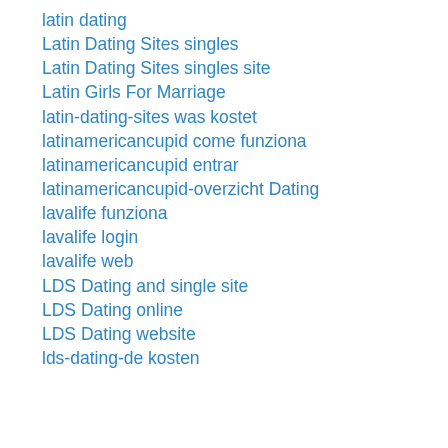latin dating
Latin Dating Sites singles
Latin Dating Sites singles site
Latin Girls For Marriage
latin-dating-sites was kostet
latinamericancupid come funziona
latinamericancupid entrar
latinamericancupid-overzicht Dating
lavalife funziona
lavalife login
lavalife web
LDS Dating and single site
LDS Dating online
LDS Dating website
lds-dating-de kosten